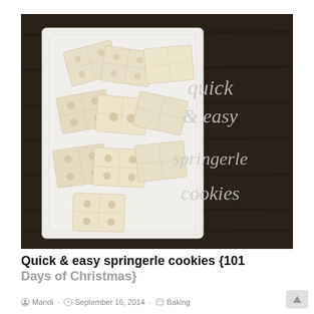[Figure (photo): Photo of springerle cookies (pale cream colored rectangular cookies with embossed designs) piled on a white square ridged plate on a dark wood surface. The right side of the dark background shows handwritten-style text in white: 'quick & easy springerle cookies'.]
Quick & easy springerle cookies {101 Days of Christmas}
Mandi · September 16, 2014 · Baking